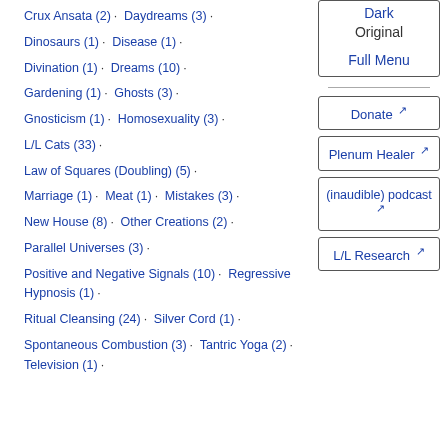Crux Ansata (2) · Daydreams (3) ·
Dinosaurs (1) · Disease (1) ·
Divination (1) · Dreams (10) ·
Gardening (1) · Ghosts (3) ·
Gnosticism (1) · Homosexuality (3) ·
L/L Cats (33) ·
Law of Squares (Doubling) (5) ·
Marriage (1) · Meat (1) · Mistakes (3) ·
New House (8) · Other Creations (2) ·
Parallel Universes (3) ·
Positive and Negative Signals (10) · Regressive Hypnosis (1) ·
Ritual Cleansing (24) · Silver Cord (1) ·
Spontaneous Combustion (3) · Tantric Yoga (2) · Television (1) ·
Dark
Original
Full Menu
Donate ↗
Plenum Healer ↗
(inaudible) podcast ↗
L/L Research ↗